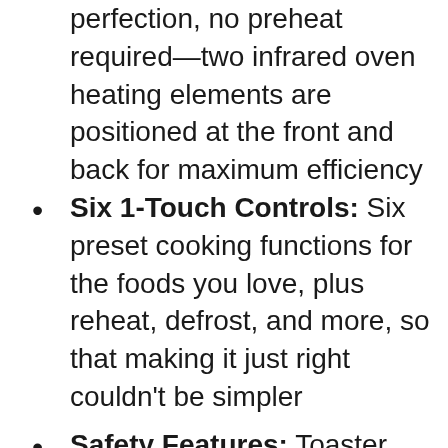perfection, no preheat required—two infrared oven heating elements are positioned at the front and back for maximum efficiency
Six 1-Touch Controls: Six preset cooking functions for the foods you love, plus reheat, defrost, and more, so that making it just right couldn't be simpler
Safety Features: Toaster ovens baking rack is connected to the oven door to smoothly pull the rack